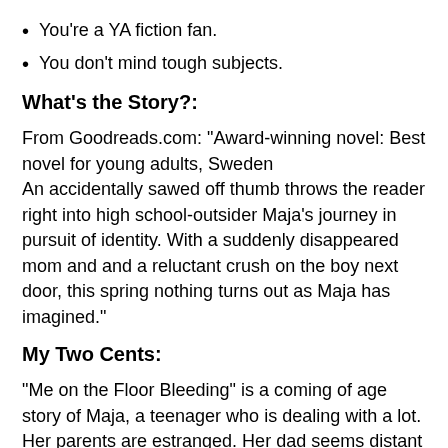You're a YA fiction fan.
You don't mind tough subjects.
What's the Story?:
From Goodreads.com: "Award-winning novel: Best novel for young adults, Sweden
An accidentally sawed off thumb throws the reader right into high school-outsider Maja's journey in pursuit of identity. With a suddenly disappeared mom and and a reluctant crush on the boy next door, this spring nothing turns out as Maja has imagined."
My Two Cents:
"Me on the Floor Bleeding" is a coming of age story of Maja, a teenager who is dealing with a lot. Her parents are estranged. Her dad seems distant from her and has a secret life that he fails to hide from Maja. Maja's mother has disappeared without a trace and she may also be hiding something from Maja. This is a great young adult novel